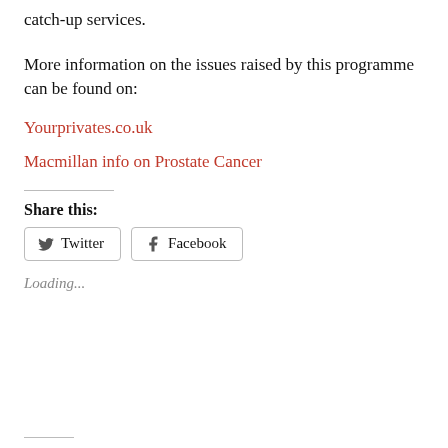catch-up services.
More information on the issues raised by this programme can be found on:
Yourprivates.co.uk
Macmillan info on Prostate Cancer
Share this:
Twitter
Facebook
Loading...